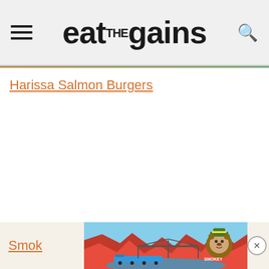eat THE gains
Harissa Salmon Burgers
[Figure (illustration): Colorful illustrated advertisement banner showing a scenic canyon landscape with a bridge, river, train, and Smokey Bear mascot character in ranger hat]
Smok…